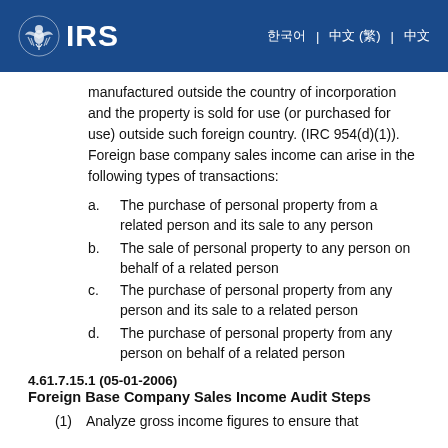IRS
manufactured outside the country of incorporation and the property is sold for use (or purchased for use) outside such foreign country. (IRC 954(d)(1)). Foreign base company sales income can arise in the following types of transactions:
a. The purchase of personal property from a related person and its sale to any person
b. The sale of personal property to any person on behalf of a related person
c. The purchase of personal property from any person and its sale to a related person
d. The purchase of personal property from any person on behalf of a related person
4.61.7.15.1 (05-01-2006)
Foreign Base Company Sales Income Audit Steps
(1) Analyze gross income figures to ensure that